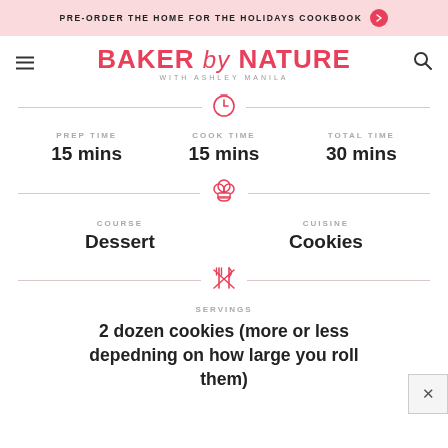PRE-ORDER THE HOME FOR THE HOLIDAYS COOKBOOK →
BAKER by NATURE WITH ASHLEY MANILA
| PREP TIME | COOK TIME | TOTAL TIME |
| --- | --- | --- |
| 15 mins | 15 mins | 30 mins |
| COURSE | CUISINE |
| --- | --- |
| Dessert | Cookies |
SERVINGS
2 dozen cookies (more or less depedning on how large you roll them)